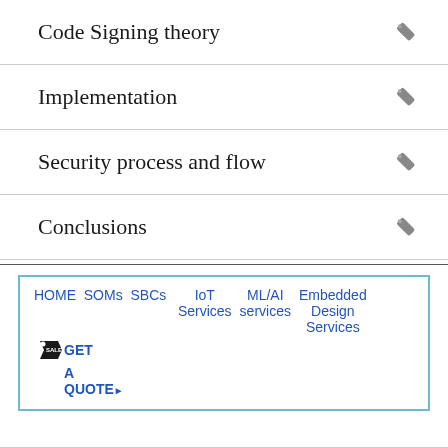Code Signing theory
Implementation
Security process and flow
Conclusions
HOME SOMs SBCs IoT Services ML/AI services Embedded Design Services GET A QUOTE